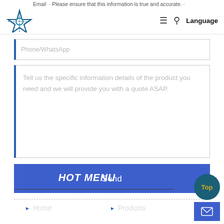Email · Please ensure that this information is true and accurate.
[Figure (logo): Star/compass-style logo icon in dark blue outline]
≡  🔍  Language
Phone/WhatsApp
Tell us the specific information details of the product you need and we will provide you with a quote ASAP.
Send
HOT MENU
Home
Products